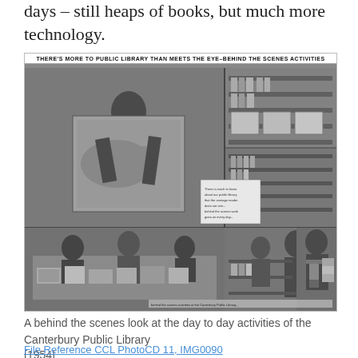days – still heaps of books, but much more technology.
[Figure (photo): Black and white newspaper photo collage titled 'THERE'S MORE TO PUBLIC LIBRARY THAN MEETS THE EYE–BEHIND THE SCENES ACTIVITIES' showing multiple scenes of library staff and patrons engaged in various behind-the-scenes activities at a public library, circa 1954.]
A behind the scenes look at the day to day activities of the Canterbury Public Library
[1954]
File Reference CCL PhotoCD 11, IMG0090